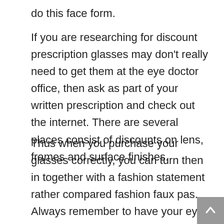do this face form.
If you are researching for discount prescription glasses may don't really need to get them at the eye doctor office, then ask as part of your written prescription and check out the internet. There are several places consist of discounts on lens, frames and surface finishes.
Thus when you purchase your glasses correctly, you can turn then in together with a fashion statement rather compared fashion faux pas. Always remember to have your eye prescription with you when buying glasses.